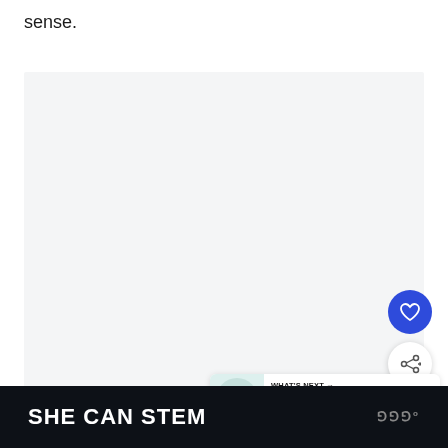sense.
[Figure (other): Embedded video player area, light gray background, large blank viewing area]
[Figure (other): Blue circular heart/favorite button icon]
[Figure (other): White circular share/add button icon]
WHAT'S NEXT → How To Wear Leggings...
SHE CAN STEM